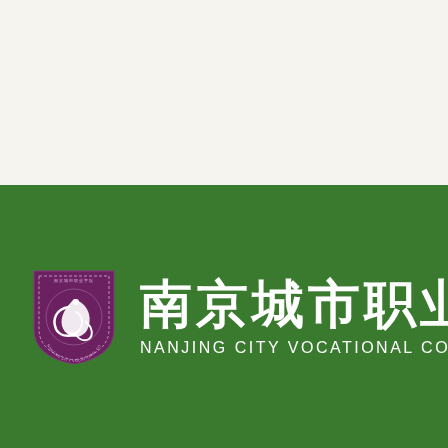[Figure (logo): Nanjing City Vocational College logo page. Top half is a light cream/off-white background. Bottom half is a dark green banner containing a shield-shaped crest on the left (purple/maroon shield with a white bird/phoenix design and circular text reading 'NANJING CITY VOCATIONAL COLLEGE'), followed by large white Chinese characters '南京城市职业学院' and below them the English text 'NANJING CITY VOCATIONAL COLLEGE' in white.]